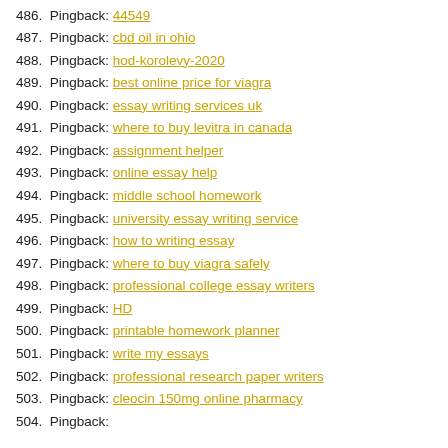486. Pingback: 44549
487. Pingback: cbd oil in ohio
488. Pingback: hod-korolevy-2020
489. Pingback: best online price for viagra
490. Pingback: essay writing services uk
491. Pingback: where to buy levitra in canada
492. Pingback: assignment helper
493. Pingback: online essay help
494. Pingback: middle school homework
495. Pingback: university essay writing service
496. Pingback: how to writing essay
497. Pingback: where to buy viagra safely
498. Pingback: professional college essay writers
499. Pingback: HD
500. Pingback: printable homework planner
501. Pingback: write my essays
502. Pingback: professional research paper writers
503. Pingback: cleocin 150mg online pharmacy
504. Pingback: ...